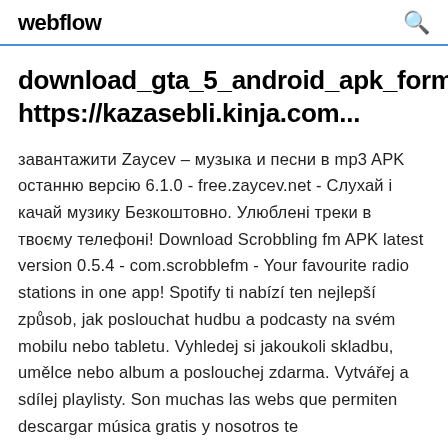webflow
download_gta_5_android_apk_format, https://kazasebli.kinja.com...
завантажити Zaycev – музыка и песни в mp3 APK останню версiю 6.1.0 - free.zaycev.net - Слухай i качай музику Безкоштовно. Улюбленi треки в твоєму телефонi! Download Scrobbling fm APK latest version 0.5.4 - com.scrobblefm - Your favourite radio stations in one app! Spotify ti nabízí ten nejlepší způsob, jak poslouchat hudbu a podcasty na svém mobilu nebo tabletu. Vyhledej si jakoukoli skladbu, umělce nebo album a poslouchej zdarma. Vytvářej a sdílej playlisty. Son muchas las webs que permiten descargar música gratis y nosotros te